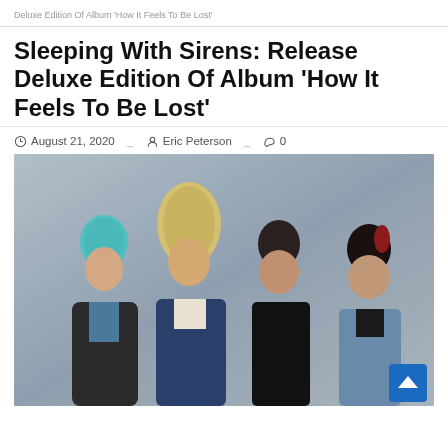Deluxe Edition Of Album 'How It Feels To Be Lost'
Sleeping With Sirens: Release Deluxe Edition Of Album ‘How It Feels To Be Lost’
August 21, 2020  Eric Peterson  0
[Figure (photo): Four male band members posing together against a grey background. One has teal/blue hair, one has long blonde hair, one wears a black jacket, and one wears a denim jacket with a red streak in his hair.]